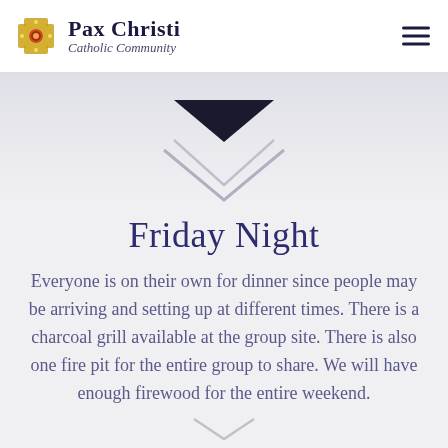Pax Christi Catholic Community
[Figure (illustration): Decorative chevron/arrow pointing down, dark filled triangle above lighter outlined chevrons, overlaid on a faded background image]
Friday Night
Everyone is on their own for dinner since people may be arriving and setting up at different times. There is a charcoal grill available at the group site. There is also one fire pit for the entire group to share. We will have enough firewood for the entire weekend.